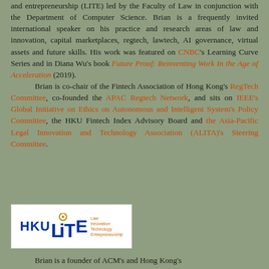and entrepreneurship (LITE) led by the Faculty of Law in conjunction with the Department of Computer Science. Brian is a frequently invited international speaker on his practice and research areas of law and innovation, capital marketplaces, regtech, lawtech, AI governance, virtual assets and future skills. His work was featured on CNBC's Learning Curve Series and in Diana Wu's book Future Proof: Reinventing Work In the Age of Acceleration (2019). Brian is co-chair of the Fintech Association of Hong Kong's RegTech Committee, co-founded the APAC Regtech Network, and sits on IEEE's Global Initiative on Ethics on Autonomous and Intelligent System's Policy Committee, the HKU Fintech Index Advisory Board and the Asia-Pacific Legal Innovation and Technology Association (ALITA)'s Steering Committee.
[Figure (logo): HKU LITE logo — Law Innovation Technology Entrepreneurship — white background with blue and orange text]
Brian is a founder of ACM's and Hong Kong's...